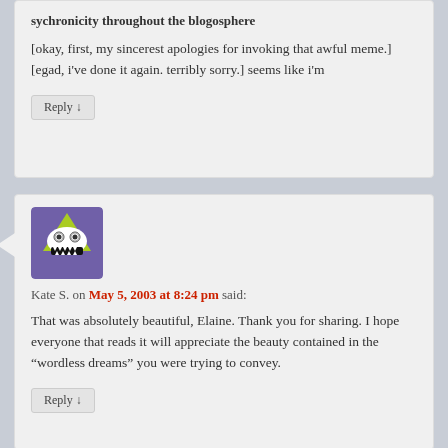sychronicity throughout the blogosphere
[okay, first, my sincerest apologies for invoking that awful meme.] [egad, i've done it again. terribly sorry.] seems like i'm
Reply ↓
[Figure (illustration): Avatar image of a cartoon monster face with green triangular head, large eyes, and jagged teeth on a purple background]
Kate S. on May 5, 2003 at 8:24 pm said:
That was absolutely beautiful, Elaine. Thank you for sharing. I hope everyone that reads it will appreciate the beauty contained in the “wordless dreams” you were trying to convey.
Reply ↓